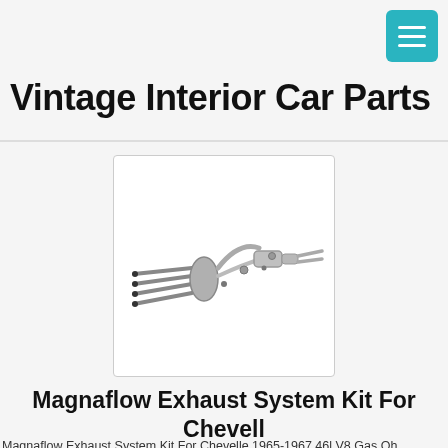Vintage Interior Car Parts
[Figure (photo): Magnaflow exhaust system kit showing pipes and mufflers for a classic car]
Magnaflow Exhaust System Kit For Chevelle 1965-1967 46l V8 Gas Ohv - $1108.00
Magnaflow Exhaust System Kit For Chevelle 1965-1967 46l V8 Gas Oh